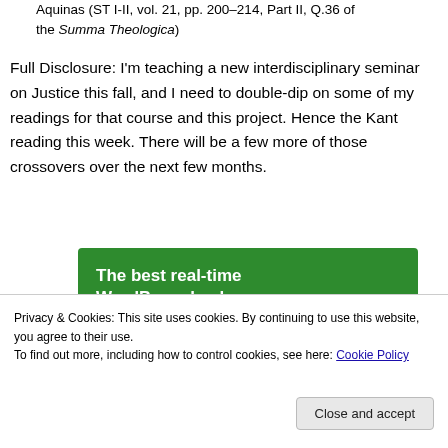Aquinas (ST I-II, vol. 21, pp. 200–214, Part II, Q.36 of the Summa Theologica)
Full Disclosure: I'm teaching a new interdisciplinary seminar on Justice this fall, and I need to double-dip on some of my readings for that course and this project. Hence the Kant reading this week. There will be a few more of those crossovers over the next few months.
[Figure (infographic): Green advertisement banner with bold white text reading 'The best real-time WordPress backup plugin']
Privacy & Cookies: This site uses cookies. By continuing to use this website, you agree to their use.
To find out more, including how to control cookies, see here: Cookie Policy
Close and accept